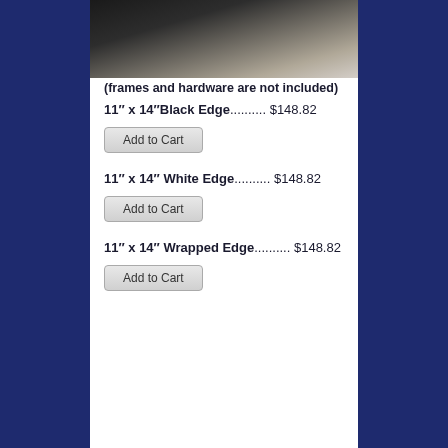[Figure (photo): Close-up photo of a dark framed canvas or print product, showing black edge and light background]
(frames and hardware are not included)
11″ x 14″Black Edge.......... $148.82
Add to Cart
11″ x 14″ White Edge.......... $148.82
Add to Cart
11″ x 14″ Wrapped Edge.......... $148.82
Add to Cart